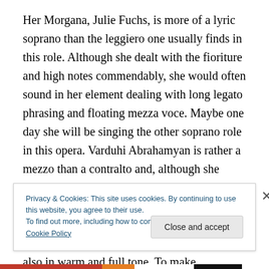Her Morgana, Julie Fuchs, is more of a lyric soprano than the leggiero one usually finds in this role. Although she dealt with the fioriture and high notes commendably, she would often sound in her element dealing with long legato phrasing and floating mezza voce. Maybe one day she will be singing the other soprano role in this opera. Varduhi Abrahamyan is rather a mezzo than a contralto and, although she manages the passaggio adeptly, one can hear that her voice truly blossoms from the middle register up. That said, she managed Bradamante's difficult fioriture famously and also in warm and full tone. To make
Privacy & Cookies: This site uses cookies. By continuing to use this website, you agree to their use.
To find out more, including how to control cookies, see here: Cookie Policy